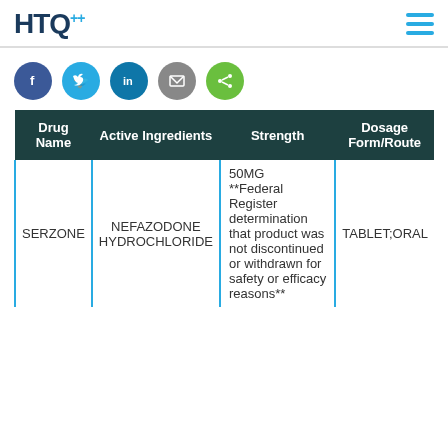HTQ
[Figure (infographic): Social media share icons: Facebook, Twitter, LinkedIn, Email, Share]
| Drug Name | Active Ingredients | Strength | Dosage Form/Route |
| --- | --- | --- | --- |
| SERZONE | NEFAZODONE HYDROCHLORIDE | 50MG **Federal Register determination that product was not discontinued or withdrawn for safety or efficacy reasons** | TABLET;ORAL |